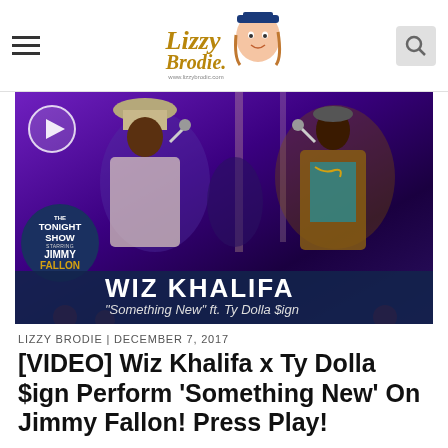Lizzy Brodie (logo and navigation)
[Figure (screenshot): Video thumbnail from The Tonight Show Starring Jimmy Fallon showing Wiz Khalifa performing 'Something New' ft. Ty Dolla $ign with two performers on stage under purple stage lighting, with Tonight Show logo badge and lower-third graphics]
LIZZY BRODIE | December 7, 2017
[VIDEO] Wiz Khalifa x Ty Dolla $ign Perform 'Something New' On Jimmy Fallon! Press Play!
First off, I am obsessed with this song! Ty Dolla never disappoints with his sultry vocals and Wiz